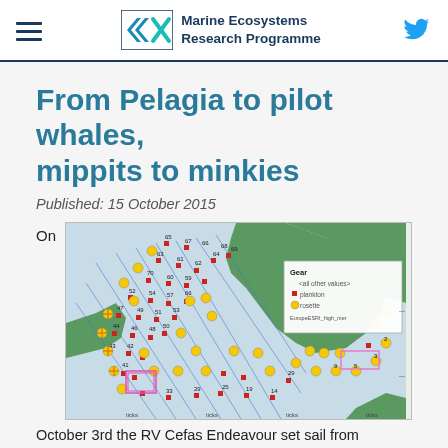Marine Ecosystems Research Programme
From Pelagia to pilot whales, mippits to minkies
Published: 15 October 2015
On
[Figure (map): A nautical/survey map showing sampling stations numbered 1-69 in the North Atlantic/Celtic Sea area. Red square markers labeled 'plankton' and yellow circle markers labeled 'rosette' at various station positions. Blue diagonal lines cross the survey area. Legend shows 'Gear', 'all other values', 'plankton', 'rosette', 'EuropeESRI_high_mer'. Green land masses visible. Station numbers range from approximately 1-69.]
October 3rd the RV Cefas Endeavour set sail from